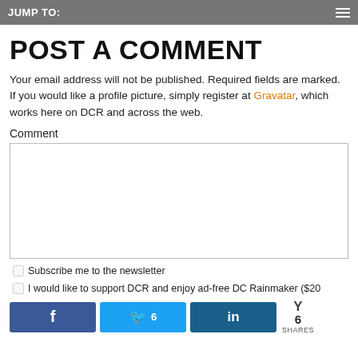JUMP TO:
POST A COMMENT
Your email address will not be published. Required fields are marked.
If you would like a profile picture, simply register at Gravatar, which works here on DCR and across the web.
Comment
Subscribe me to the newsletter
I would like to support DCR and enjoy ad-free DC Rainmaker ($20